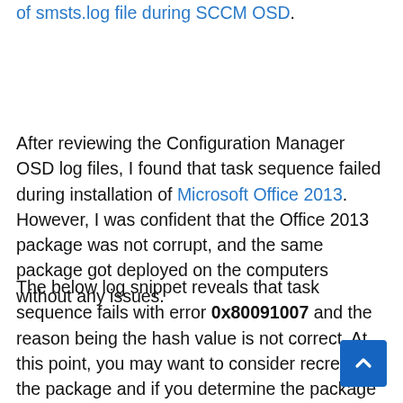of smsts.log file during SCCM OSD.
After reviewing the Configuration Manager OSD log files, I found that task sequence failed during installation of Microsoft Office 2013. However, I was confident that the Office 2013 package was not corrupt, and the same package got deployed on the computers without any issues.
The below log snippet reveals that task sequence fails with error 0x80091007 and the reason being the hash value is not correct. At this point, you may want to consider recreating the package and if you determine the package…